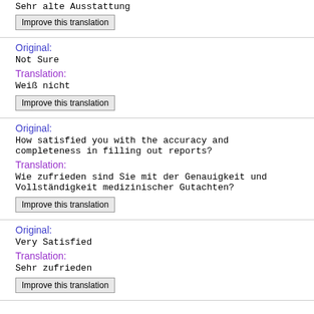Sehr alte Ausstattung
Improve this translation
Original: Not Sure
Translation: Weiß nicht
Improve this translation
Original: How satisfied you with the accuracy and completeness in filling out reports?
Translation: Wie zufrieden sind Sie mit der Genauigkeit und Vollständigkeit medizinischer Gutachten?
Improve this translation
Original: Very Satisfied
Translation: Sehr zufrieden
Improve this translation